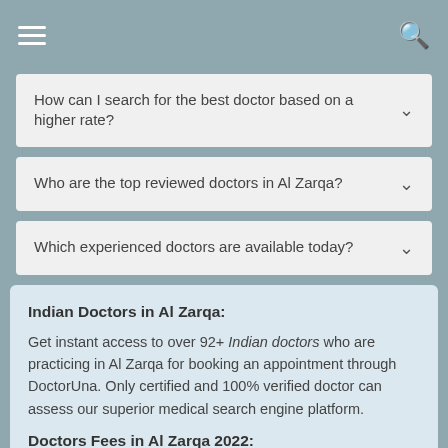How can I search for the best doctor based on a higher rate?
Who are the top reviewed doctors in Al Zarqa?
Which experienced doctors are available today?
Indian Doctors in Al Zarqa:
Get instant access to over 92+ Indian doctors who are practicing in Al Zarqa for booking an appointment through DoctorUna. Only certified and 100% verified doctor can assess our superior medical search engine platform.
Doctors Fees in Al Zarqa 2022:
Doctors fees may vary from one clinic to the other. The fees also depend on factors like doctor expertise, years of